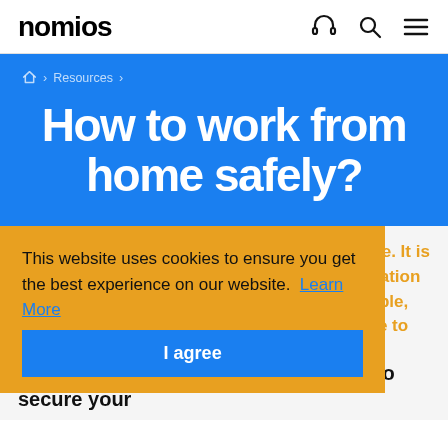nomios
Home > Resources >
How to work from home safely?
This website uses cookies to ensure you get the best experience on our website. Learn More
I agree
Many people are currently working from home. It is crucially important to pay attention to information and cybersecurity in this situation. For example, working from home means an extra challenge to secure your